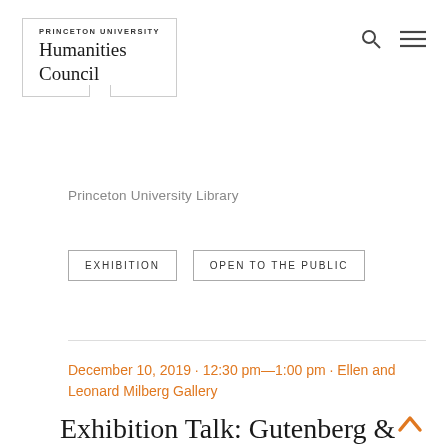[Figure (logo): Princeton University Humanities Council logo — open book outline with 'PRINCETON UNIVERSITY' in small caps above 'Humanities Council' in serif font]
Princeton University Library
EXHIBITION
OPEN TO THE PUBLIC
December 10, 2019 · 12:30 pm—1:00 pm · Ellen and Leonard Milberg Gallery
Exhibition Talk: Gutenberg & After